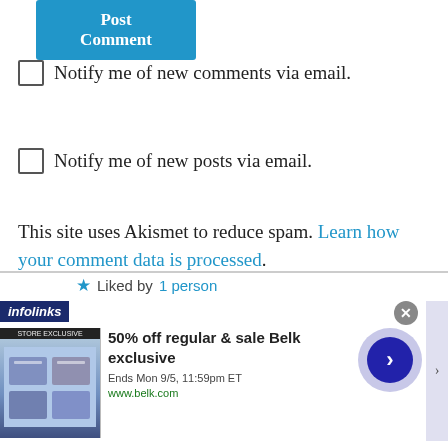Post Comment
Notify me of new comments via email.
Notify me of new posts via email.
This site uses Akismet to reduce spam. Learn how your comment data is processed.
Souzapalooza on November 4, 2014 at 10:27 am
You did an amazing job! Congrats!
Liked by 1 person
[Figure (screenshot): Infolinks advertisement bar showing 50% off regular & sale Belk exclusive deal. Ends Mon 9/5, 11:59pm ET. www.belk.com]